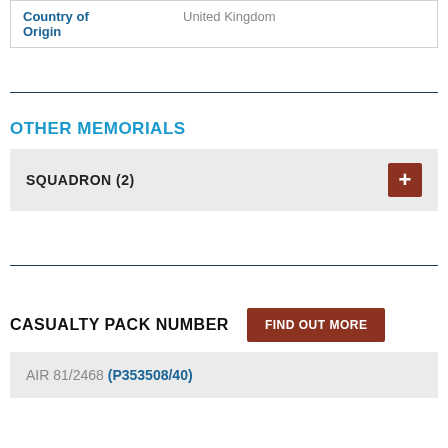| Field | Value |
| --- | --- |
| Country of Origin | United Kingdom |
OTHER MEMORIALS
SQUADRON (2)
CASUALTY PACK NUMBER
AIR 81/2468 (P353508/40)